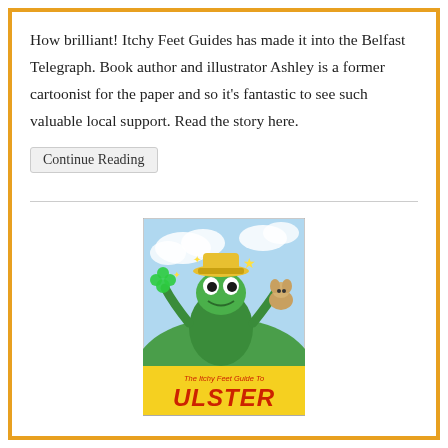How brilliant! Itchy Feet Guides has made it into the Belfast Telegraph. Book author and illustrator Ashley is a former cartoonist for the paper and so it's fantastic to see such valuable local support. Read the story here.
Continue Reading
[Figure (illustration): Book cover of 'The Itchy Feet Guide to Ulster' showing cartoon characters including a frog and other illustrated characters in a colorful children's book style illustration.]